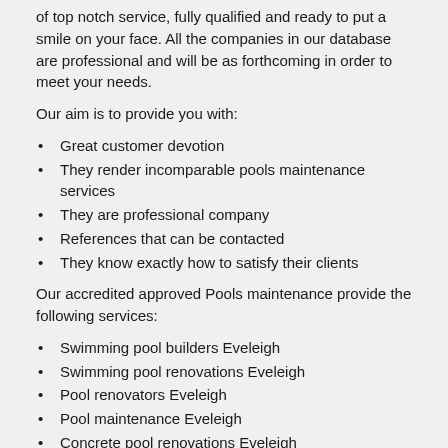of top notch service, fully qualified and ready to put a smile on your face. All the companies in our database are professional and will be as forthcoming in order to meet your needs.
Our aim is to provide you with:
Great customer devotion
They render incomparable pools maintenance services
They are professional company
References that can be contacted
They know exactly how to satisfy their clients
Our accredited approved Pools maintenance provide the following services:
Swimming pool builders Eveleigh
Swimming pool renovations Eveleigh
Pool renovators Eveleigh
Pool maintenance Eveleigh
Concrete pool renovations Eveleigh
Pool cleaning services Eveleigh
Fiberglass pool refinishing Eveleigh
Fiberglass swimming pool maintenance Eveleigh
Pool renovations Eveleigh
Salt water pool maintenance Eveleigh
Pool refinishing Eveleigh
Fix green pool Eveleigh
Pools maintenance Eveleigh